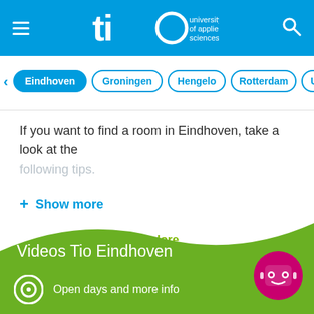tio university of applied sciences
Eindhoven
Groningen
Hengelo
Rotterdam
Utrecht
If you want to find a room in Eindhoven, take a look at the following tips.
+ Show more
Explore
Videos Tio Eindhoven
Open days and more info